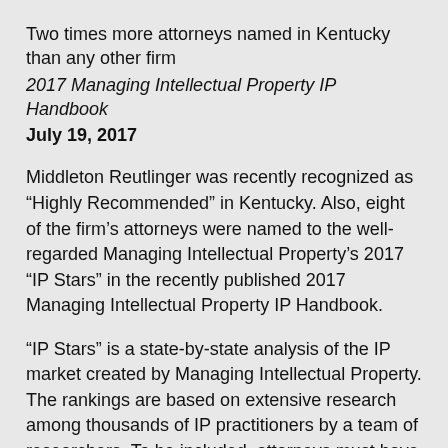Two times more attorneys named in Kentucky than any other firm
2017 Managing Intellectual Property IP Handbook
July 19, 2017
Middleton Reutlinger was recently recognized as “Highly Recommended” in Kentucky. Also, eight of the firm’s attorneys were named to the well-regarded Managing Intellectual Property’s 2017 “IP Stars” in the recently published 2017 Managing Intellectual Property IP Handbook.
“IP Stars” is a state-by-state analysis of the IP market created by Managing Intellectual Property. The rankings are based on extensive research among thousands of IP practitioners by a team of researchers. To be included, attorneys must have received a large number of